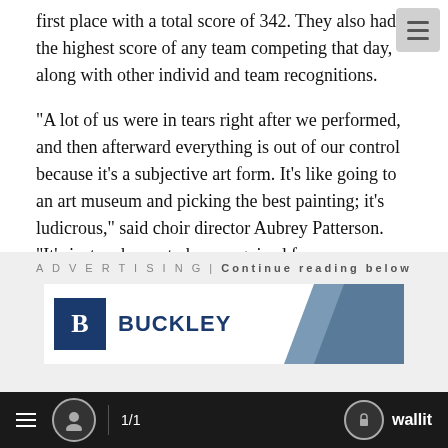first place with a total score of 342. They also had the highest score of any team competing that day, along with other individual and team recognitions.
"A lot of us were in tears right after we performed, and then afterward everything is out of our control because it's a subjective art form. It's like going to an art museum and picking the best painting; it's ludicrous," said choir director Aubrey Patterson. "It's just an honor to be recognized for our musicality."
The choir competed in the competition back in 2019 — and won — but due to COVID-19 stalling the last two years, this was the first time many of the students performed on the stage. Some recent graduates who were not able to compete due to the pandemic showed up to the competition in support of their high school.
[Figure (screenshot): Advertisement banner with text 'ADVERTISING | Continue reading below' and Buckley company logo with diagonal grey graphic element]
≡  👤  1/1    🔒 wallit